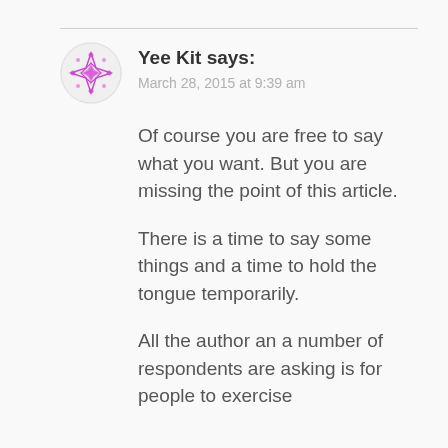Yee Kit says:
March 28, 2015 at 9:39 am
Of course you are free to say what you want. But you are missing the point of this article.
There is a time to say some things and a time to hold the tongue temporarily.
All the author an a number of respondents are asking is for people to exercise